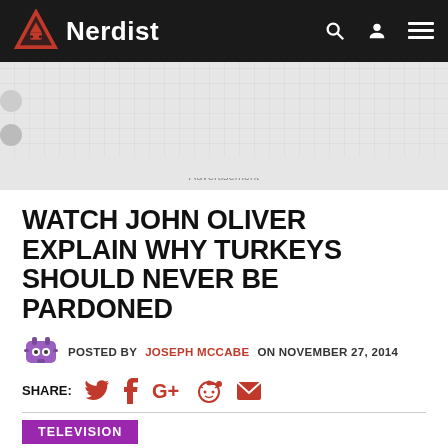Nerdist
[Figure (other): Advertisement placeholder gray area]
Advertisement
WATCH JOHN OLIVER EXPLAIN WHY TURKEYS SHOULD NEVER BE PARDONED
POSTED BY JOSEPH MCCABE ON NOVEMBER 27, 2014
SHARE:
TELEVISION
Turkeys. I love 'em. You love 'em. And the President of the United States loves 'em! That's why each year, since 1989, the